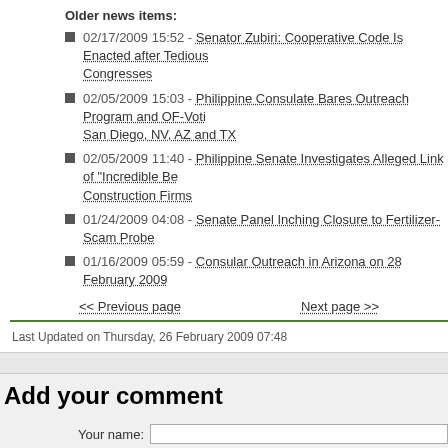Older news items:
02/17/2009 15:52 - Senator Zubiri: Cooperative Code Is Enacted after Tedious Congresses
02/05/2009 15:03 - Philippine Consulate Bares Outreach Program and OF-Voting in San Diego, NV, AZ and TX
02/05/2009 11:40 - Philippine Senate Investigates Alleged Link of "Incredible Be Construction Firms
01/24/2009 04:08 - Senate Panel Inching Closure to Fertilizer-Scam Probe
01/16/2009 05:59 - Consular Outreach in Arizona on 28 February 2009
<< Previous page    Next page >>
Last Updated on Thursday, 26 February 2009 07:48
Add your comment
Your name:
Your email:
Subject:
Comment (you may use HTML tags here):